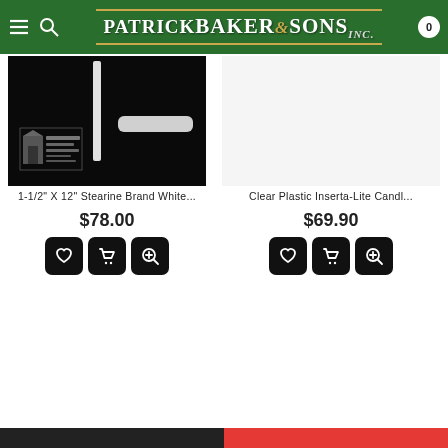Patrick Baker & Sons
[Figure (photo): Product image of 1-1/2" X 12" Stearine Brand White candle on black background with Cathedral Candle Company logo]
1-1/2" X 12" Stearine Brand White...
$78.00
[Figure (photo): Product image placeholder for Clear Plastic Inserta-Lite Candle on white background]
Clear Plastic Inserta-Lite Candl...
$69.90